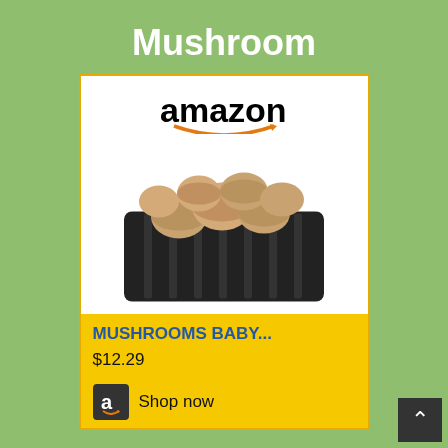Mushroom
[Figure (screenshot): Amazon product card for MUSHROOMS BABY... priced at $12.29 with a Shop now button]
Olive Oil
[Figure (screenshot): Partial Amazon product card for Olive Oil, showing Amazon logo and top of product image]